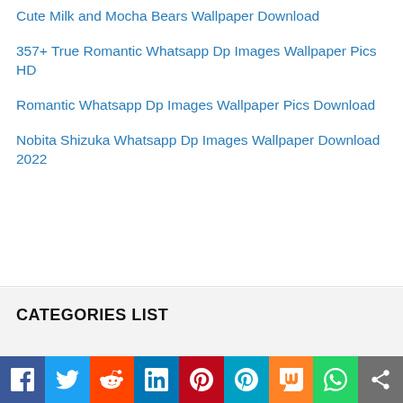Cute Milk and Mocha Bears Wallpaper Download
357+ True Romantic Whatsapp Dp Images Wallpaper Pics HD
Romantic Whatsapp Dp Images Wallpaper Pics Download
Nobita Shizuka Whatsapp Dp Images Wallpaper Download 2022
CATEGORIES LIST
[Figure (infographic): Social media share bar with icons: Facebook, Twitter, Reddit, LinkedIn, Pinterest, MeWe, Mix, WhatsApp, Share]